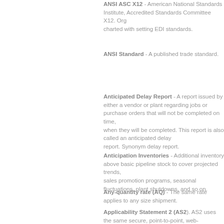ANSI ASC X12 - American Na... charted with setting EDI standar...
ANSI Standard - A published tra...
Anticipated Delay Report - A r... regarding jobs or purchase orde... when they will be completed. Th... report. Synonym delay report.
Anticipation Inventories - Addi... sales promotion programs, seas...
Any-quantity rate (AQ) - The sa...
Applicability Statement 2 (AS2... page protocol, the Hypertext Tr... Statement 1 (AS1). Both spec... Engineering Task Force (IETF) t...